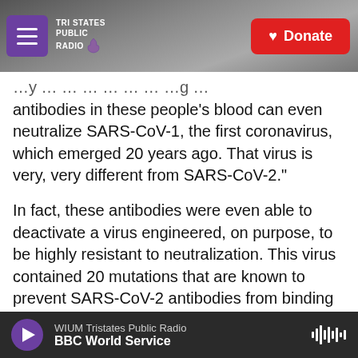[Figure (screenshot): Tri States Public Radio website header with hamburger menu button (purple), logo, and red Donate button, set against a dark grayscale background photo of a radio tower and sky.]
antibodies in these people's blood can even neutralize SARS-CoV-1, the first coronavirus, which emerged 20 years ago. That virus is very, very different from SARS-CoV-2."
In fact, these antibodies were even able to deactivate a virus engineered, on purpose, to be highly resistant to neutralization. This virus contained 20 mutations that are known to prevent SARS-CoV-2 antibodies from binding to it. Antibodies from people who were only vaccinated or who only had prior coronavirus infections were essentially useless against this mutant virus. But
WIUM Tristates Public Radio
BBC World Service